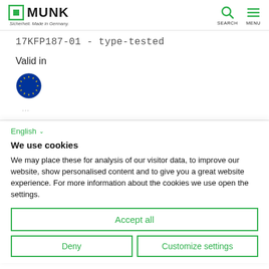MUNK - Sicherheit. Made in Germany.
17KFP187-01 - type-tested
Valid in
[Figure (illustration): European Union flag icon - blue circle with yellow stars]
...
English
We use cookies
We may place these for analysis of our visitor data, to improve our website, show personalised content and to give you a great website experience. For more information about the cookies we use open the settings.
Accept all
Deny
Customize settings